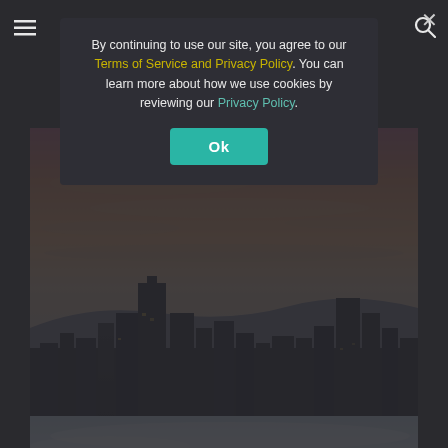[Figure (photo): City skyline at sunset/dusk with orange and purple sky, dark building silhouettes in foreground]
[Figure (photo): Partial photo of sky with light blue hues visible at the bottom of the page]
By continuing to use our site, you agree to our Terms of Service and Privacy Policy. You can learn more about how we use cookies by reviewing our Privacy Policy.